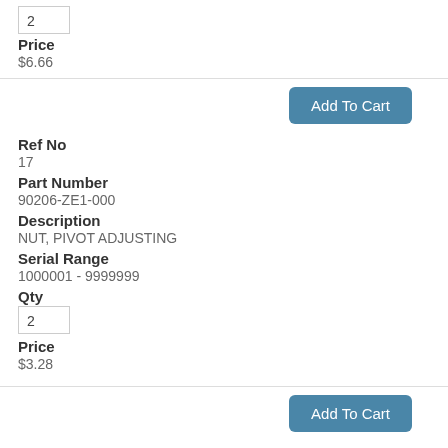2
Price
$6.66
Add To Cart
Ref No
17
Part Number
90206-ZE1-000
Description
NUT, PIVOT ADJUSTING
Serial Range
1000001 - 9999999
Qty
2
Price
$3.28
Add To Cart